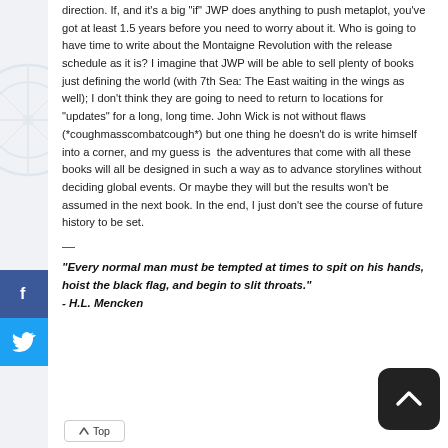direction. If, and it's a big "if" JWP does anything to push metaplot, you've got at least 1.5 years before you need to worry about it. Who is going to have time to write about the Montaigne Revolution with the release schedule as it is? I imagine that JWP will be able to sell plenty of books just defining the world (with 7th Sea: The East waiting in the wings as well); I don't think they are going to need to return to locations for "updates" for a long, long time. John Wick is not without flaws (*coughmasscombatcough*) but one thing he doesn't do is write himself into a corner, and my guess is the adventures that come with all these books will all be designed in such a way as to advance storylines without deciding global events. Or maybe they will but the results won't be assumed in the next book. In the end, I just don't see the course of future history to be set.
—
“Every normal man must be tempted at times to spit on his hands, hoist the black flag, and begin to slit throats.” - H.L. Mencken